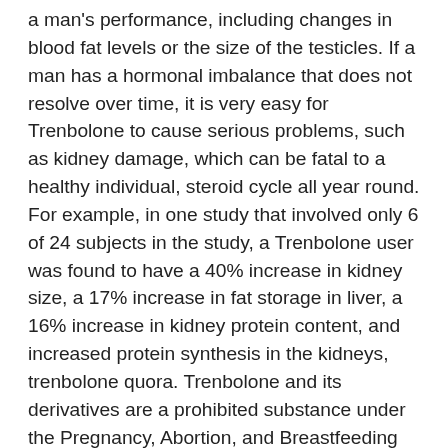a man's performance, including changes in blood fat levels or the size of the testicles. If a man has a hormonal imbalance that does not resolve over time, it is very easy for Trenbolone to cause serious problems, such as kidney damage, which can be fatal to a healthy individual, steroid cycle all year round. For example, in one study that involved only 6 of 24 subjects in the study, a Trenbolone user was found to have a 40% increase in kidney size, a 17% increase in fat storage in liver, a 16% increase in kidney protein content, and increased protein synthesis in the kidneys, trenbolone quora. Trenbolone and its derivatives are a prohibited substance under the Pregnancy, Abortion, and Breastfeeding Act, as are the drugs commonly prescribed to women to treat conditions related to a woman's pregnancy, such as the diuretic potassium chloride. Although Trenbolone is only one of the steroids that is commonly prescribed and